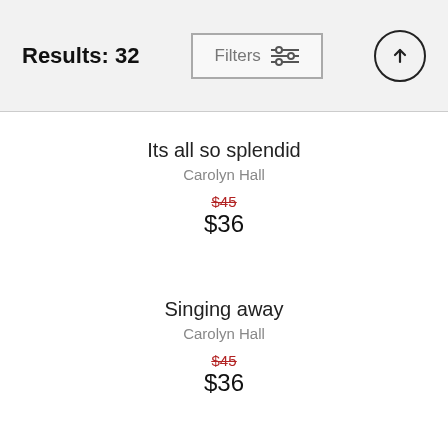Results: 32  Filters  ↑
Its all so splendid
Carolyn Hall
$45
$36
Singing away
Carolyn Hall
$45
$36
Sunset at Settlers Landing
Carolyn Hall